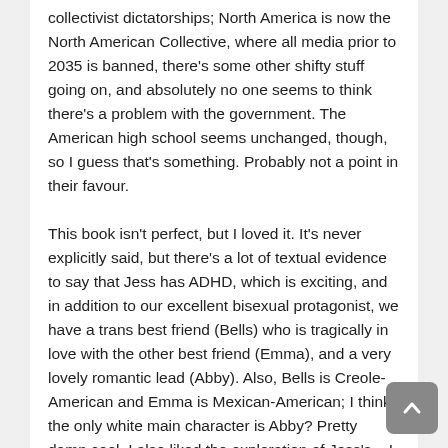collectivist dictatorships; North America is now the North American Collective, where all media prior to 2035 is banned, there's some other shifty stuff going on, and absolutely no one seems to think there's a problem with the government. The American high school seems unchanged, though, so I guess that's something. Probably not a point in their favour.
This book isn't perfect, but I loved it. It's never explicitly said, but there's a lot of textual evidence to say that Jess has ADHD, which is exciting, and in addition to our excellent bisexual protagonist, we have a trans best friend (Bells) who is tragically in love with the other best friend (Emma), and a very lovely romantic lead (Abby). Also, Bells is Creole-American and Emma is Mexican-American; I think the only white main character is Abby? Pretty damn cool. I also liked the exploration of Jess's – I guess race anxiety? She's Vietnamese, and she feels